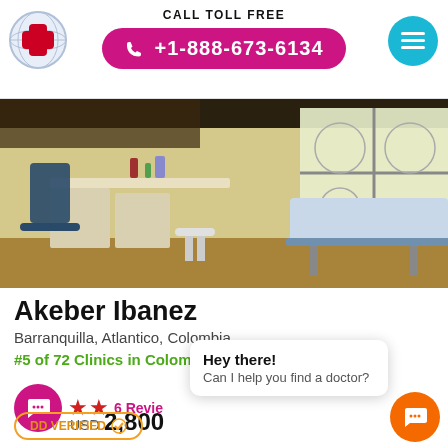CALL TOLL FREE +1-888-673-6134
[Figure (photo): Interior photo of a medical clinic room with an examination table, desk with supplies, and decorative window]
Akeber Ibanez
Barranquilla, Atlantico, Colombia
#5 of 72 Clinics in Colombia
6 Reviews
USD 2,800
DD VERIFIED
Hey there! Can I help you find a doctor?